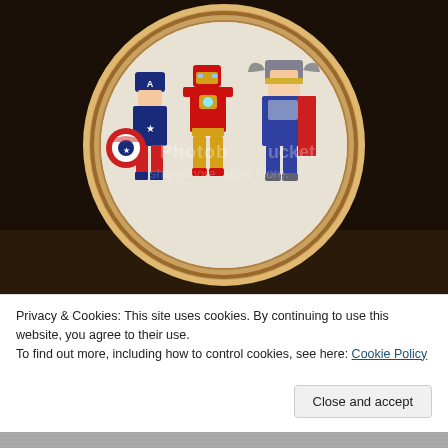[Figure (photo): A cross-stitch embroidery hoop on a dark background showing three Marvel Avengers characters: Captain America (left, with blue shield), Iron Man (center, red and gold armor), and Thor (right, with gray winged helmet and cape). A photobucket watermark is visible across the image.]
Privacy & Cookies: This site uses cookies. By continuing to use this website, you agree to their use.
To find out more, including how to control cookies, see here: Cookie Policy
[Figure (photo): Bottom strip of another cross-stitch or embroidery photo, partially visible, showing a light grid-like fabric pattern.]